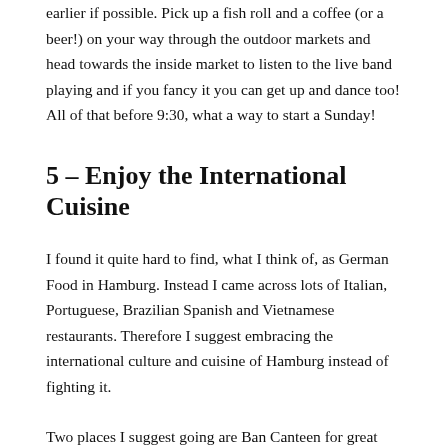earlier if possible. Pick up a fish roll and a coffee (or a beer!) on your way through the outdoor markets and head towards the inside market to listen to the live band playing and if you fancy it you can get up and dance too! All of that before 9:30, what a way to start a Sunday!
5 – Enjoy the International Cuisine
I found it quite hard to find, what I think of, as German Food in Hamburg. Instead I came across lots of Italian, Portuguese, Brazilian Spanish and Vietnamese restaurants. Therefore I suggest embracing the international culture and cuisine of Hamburg instead of fighting it.
Two places I suggest going are Ban Canteen for great Vietnamese and Luigi's for Italian and a very unique experience – you'll see